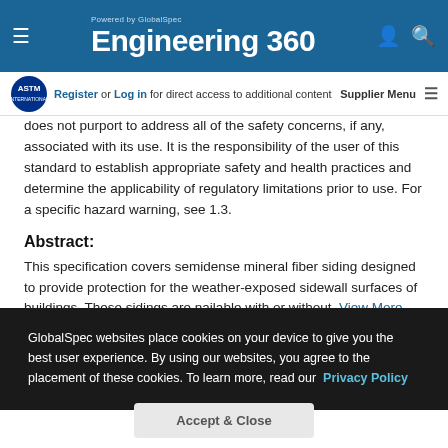Powered by GlobalSpec Engineering 360
Register or Log in for direct access to additional content
does not purport to address all of the safety concerns, if any, associated with its use. It is the responsibility of the user of this standard to establish appropriate safety and health practices and determine the applicability of regulatory limitations prior to use. For a specific hazard warning, see 1.3.
Abstract:
This specification covers semidense mineral fiber siding designed to provide protection for the weather-exposed sidewall surfaces of buildings. These sidings are nailable with or without... View More
GlobalSpec websites place cookies on your device to give you the best user experience. By using our websites, you agree to the placement of these cookies. To learn more, read our Privacy Policy
Accept & Close